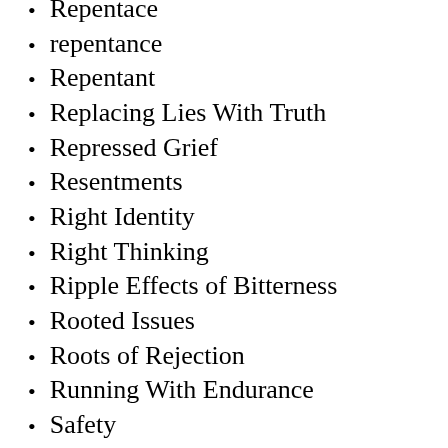Repentace
repentance
Repentant
Replacing Lies With Truth
Repressed Grief
Resentments
Right Identity
Right Thinking
Ripple Effects of Bitterness
Rooted Issues
Roots of Rejection
Running With Endurance
Safety
Security
Security In Chirst
Seeds of Rejection